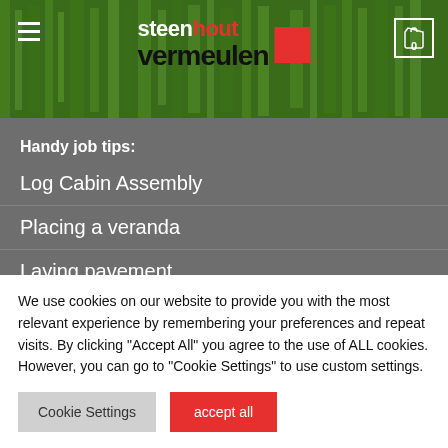[Figure (screenshot): Green grass background with Steenhout Vermeulen company logo, hamburger menu icon on left, shopping cart icon on right]
Handy job tips:
Log Cabin Assembly
Placing a veranda
Laying pavement
Fence Placing
Carport Places
We use cookies on our website to provide you with the most relevant experience by remembering your preferences and repeat visits. By clicking "Accept All" you agree to the use of ALL cookies. However, you can go to "Cookie Settings" to use custom settings.
Cookie Settings | accept all